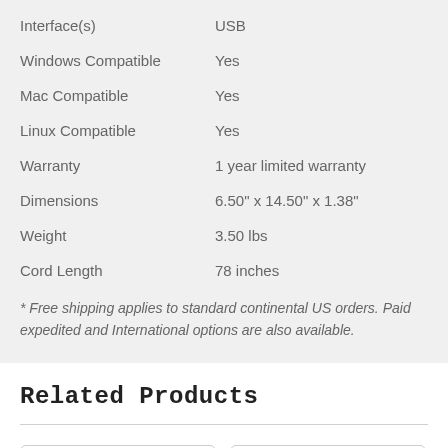| Attribute | Value |
| --- | --- |
| Interface(s) | USB |
| Windows Compatible | Yes |
| Mac Compatible | Yes |
| Linux Compatible | Yes |
| Warranty | 1 year limited warranty |
| Dimensions | 6.50" x 14.50" x 1.38" |
| Weight | 3.50 lbs |
| Cord Length | 78 inches |
* Free shipping applies to standard continental US orders. Paid expedited and International options are also available.
Related Products
[Figure (other): Two empty product card placeholders side by side]